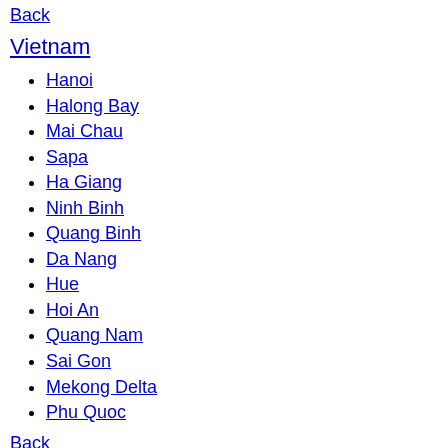Back
Vietnam
Hanoi
Halong Bay
Mai Chau
Sapa
Ha Giang
Ninh Binh
Quang Binh
Da Nang
Hue
Hoi An
Quang Nam
Sai Gon
Mekong Delta
Phu Quoc
Back
Myanmar
Bagan
Yangon
Mandalay